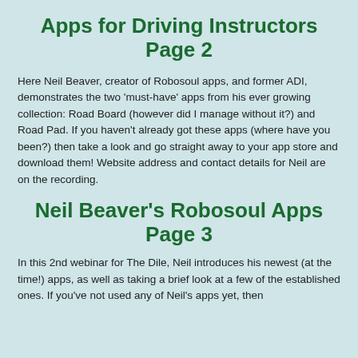Apps for Driving Instructors
Page 2
Here Neil Beaver, creator of Robosoul apps, and former ADI, demonstrates the two 'must-have' apps from his ever growing collection: Road Board (however did I manage without it?) and Road Pad. If you haven't already got these apps (where have you been?) then take a look and go straight away to your app store and download them! Website address and contact details for Neil are on the recording.
Neil Beaver's Robosoul Apps
Page 3
In this 2nd webinar for The Dile, Neil introduces his newest (at the time!) apps, as well as taking a brief look at a few of the established ones. If you've not used any of Neil's apps yet, then